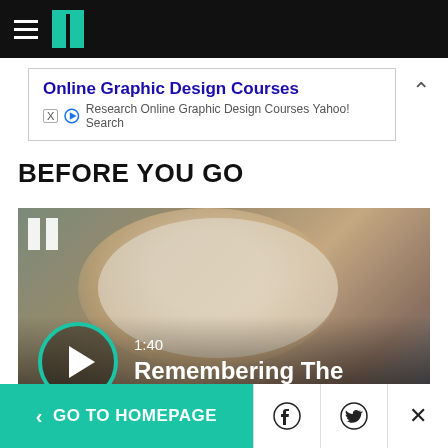HuffPost navigation bar
[Figure (screenshot): Advertisement banner: Online Graphic Design Courses - Research Online Graphic Design Courses Yahoo! Search]
BEFORE YOU GO
[Figure (other): Video thumbnail showing a smiling woman with a white hat and striped outfit. Video duration 1:40. Title: Remembering The People's Princess. HuffPost logo in top-left corner. Teal play button circle in bottom-left.]
< GO TO HOMEPAGE